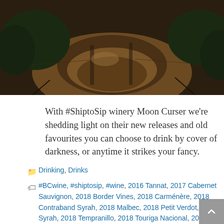[Figure (photo): Vineyard photograph showing a mound of dry earth and vine rows in semi-darkness]
With #ShiptoSip winery Moon Curser we're shedding light on their new releases and old favourites you can choose to drink by cover of darkness, or anytime it strikes your fancy.
Categories: Drinking, Drinks
Tags: #BCwine, #shiptosip, #wine, 2016 Tannat, 2017 Cabernet Sauvignon, 2018 Border Vines, 2018 Carménère, 2018 Contraband Syrah, 2018 Malbec, 2018 Petit Verdot, 2018 Syrah, 2018 Tempranillo, 2018 Touriga Nacional, 2019 Arneis, 2019